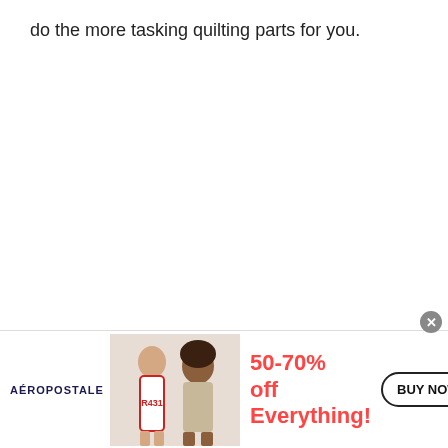do the more tasking quilting parts for you.
There is a lot of longarm quilting businesses you
find ... The
[Figure (screenshot): Aeropostale advertisement banner showing two young women models, text '50-70% off Everything!' in red, and a 'BUY NOW' button with a close X button in the corner.]